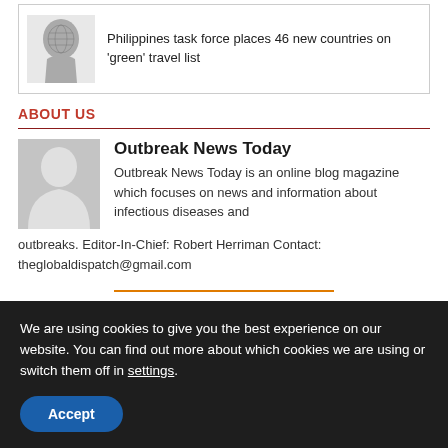[Figure (illustration): Card with a head silhouette containing a world map graphic, next to text about Philippines task force placing 46 new countries on green travel list]
Philippines task force places 46 new countries on 'green' travel list
ABOUT US
[Figure (photo): Gray avatar placeholder image of a person silhouette]
Outbreak News Today
Outbreak News Today is an online blog magazine which focuses on news and information about infectious diseases and outbreaks. Editor-In-Chief: Robert Herriman Contact: theglobaldispatch@gmail.com
[Figure (logo): Amazon logo with smile arrow beneath it and italic subtitle text below]
We are using cookies to give you the best experience on our website. You can find out more about which cookies we are using or switch them off in settings.